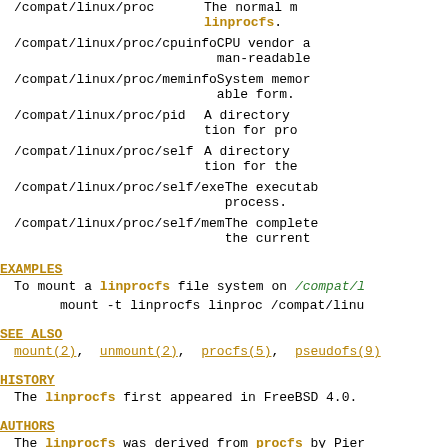/compat/linux/proc — The normal linprocfs.
/compat/linux/proc/cpuinfo — CPU vendor and man-readable
/compat/linux/proc/meminfo — System memory able form.
/compat/linux/proc/pid — A directory tion for pro
/compat/linux/proc/self — A directory tion for the
/compat/linux/proc/self/exe — The executable process.
/compat/linux/proc/self/mem — The complete the current
EXAMPLES
To mount a linprocfs file system on /compat/l
mount -t linprocfs linproc /compat/linu
SEE ALSO
mount(2), unmount(2), procfs(5), pseudofs(9)
HISTORY
The linprocfs first appeared in FreeBSD 4.0.
AUTHORS
The linprocfs was derived from procfs by Pier